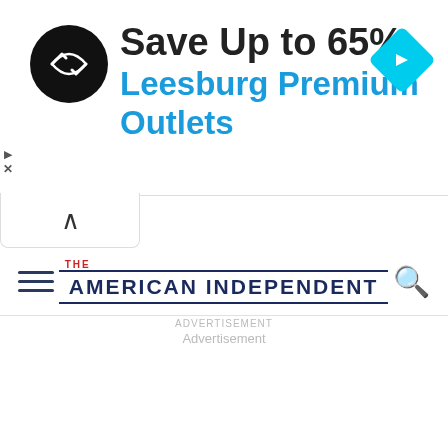[Figure (screenshot): Advertisement banner: circular black icon with double-arrow logo, text 'Save Up to 65%' in dark, 'Leesburg Premium Outlets' in blue, blue diamond navigation icon on right. Small play and X controls on left edge.]
[Figure (screenshot): Collapse/chevron up button below the ad banner, white rounded bar with up arrow symbol.]
THE AMERICAN INDEPENDENT
Advertisement